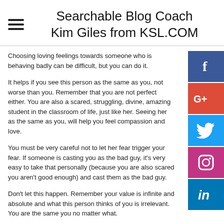Searchable Blog Coach Kim Giles from KSL.COM
Choosing loving feelings towards someone who is behaving badly can be difficult, but you can do it.
It helps if you see this person as the same as you, not worse than you. Remember that you are not perfect either. You are also a scared, struggling, divine, amazing student in the classroom of life, just like her. Seeing her as the same as you, will help you feel compassion and love.
You must be very careful not to let her fear trigger your fear. If someone is casting you as the bad guy, it's very easy to take that personally (because you are also scared you aren't good enough) and cast them as the bad guy.
Don't let this happen. Remember your value is infinite and absolute and what this person thinks of you is irrelevant. You are the same you no matter what.